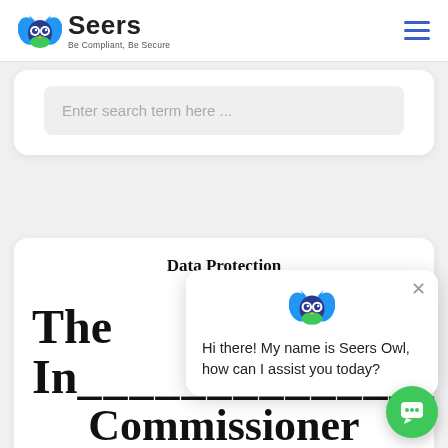Seers — Be Compliant, Be Secure
Enter search term here ...
Data Protection Sch...
The In... Commissioner
[Figure (screenshot): Seers Owl chatbot popup saying: Hi there! My name is Seers Owl, how can I assist you today?]